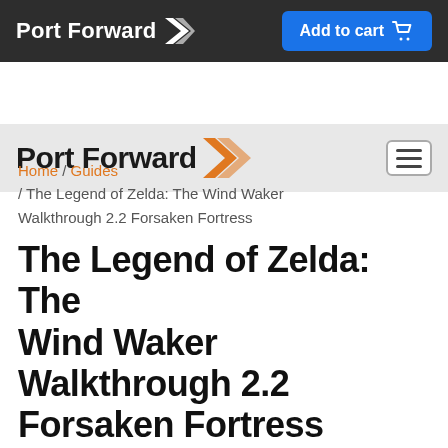Port Forward | Add to cart
[Figure (logo): Port Forward logo with orange chevron icon on dark background, plus blue Add to cart button with cart icon]
[Figure (logo): Port Forward logo with large text and orange chevron on grey background, with hamburger menu icon]
Home / Guides / The Legend of Zelda: The Wind Waker Walkthrough 2.2 Forsaken Fortress
The Legend of Zelda: The Wind Waker Walkthrough 2.2 Forsaken Fortress
September 12, 2016 (Last Updated: September 15, 2021) | Reading Time: 6 minutes
This The Legend of Zelda: The Wind Waker walkthrough is divided into 47 total pages.